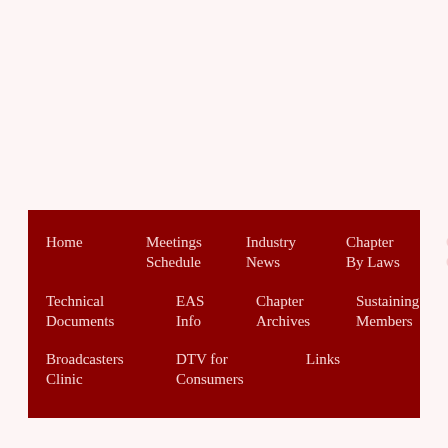[Figure (screenshot): Navigation menu bar with dark red background containing links: Home, Meetings Schedule, Industry News, Chapter By Laws, Chapter Officers, Technical Documents, EAS Info, Chapter Archives, Sustaining Members, Broadcasters Clinic, DTV for Consumers, Links]